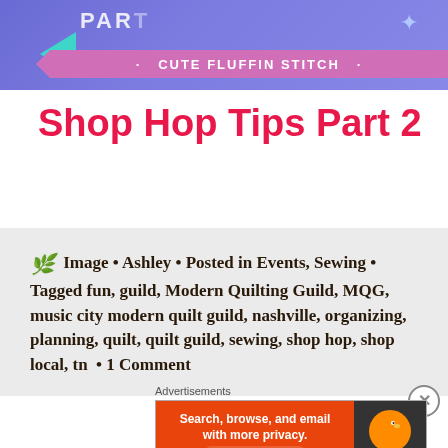[Figure (illustration): Purple/blue banner with 'CUTE FLUFFIN STITCH' text on a pink ribbon, teal arrow shape, and partial 'PART' text visible at top]
Shop Hop Tips Part 2
Image • Ashley • Posted in Events, Sewing • Tagged fun, guild, Modern Quilting Guild, MQG, music city modern quilt guild, nashville, organizing, planning, quilt, quilt guild, sewing, shop hop, shop local, tn • 1 Comment
Advertisements
[Figure (screenshot): DuckDuckGo advertisement banner: 'Search, browse, and email with more privacy. All in One Free App' on orange background with DuckDuckGo logo on dark right side]